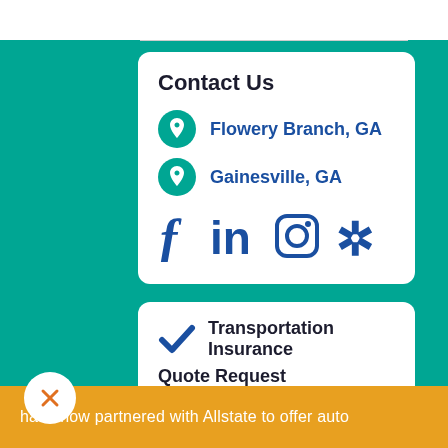Contact Us
Flowery Branch, GA
Gainesville, GA
[Figure (other): Social media icons: Facebook, LinkedIn, Instagram, Yelp]
Transportation Insurance Quote Request
As an independent agency, we are
have now partnered with Allstate to offer auto